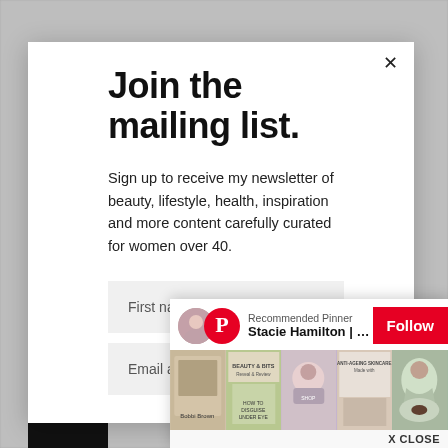Join the mailing list.
Sign up to receive my newsletter of beauty, lifestyle, health, inspiration and more content carefully curated for women over 40.
First name
Email address
[Figure (screenshot): Pinterest Recommended Pinner overlay bar showing avatar, Pinterest logo, 'Recommended Pinner' label, 'Stacie Hamilton | Makeup,...' name, red Follow button, and a row of Pinterest pin thumbnail images. Below is 'X CLOSE' text.]